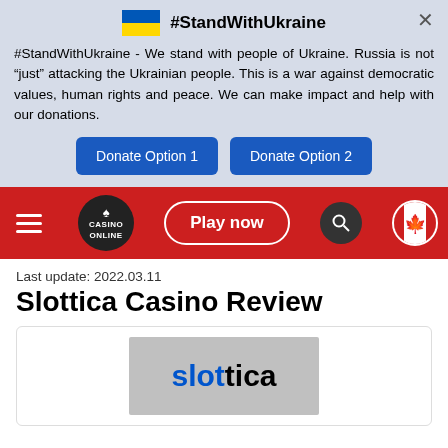#StandWithUkraine
#StandWithUkraine - We stand with people of Ukraine. Russia is not “just” attacking the Ukrainian people. This is a war against democratic values, human rights and peace. We can make impact and help with our donations.
Donate Option 1 | Donate Option 2
[Figure (screenshot): Red navigation bar with hamburger menu, Casino Online logo circle, Play now button, search icon, and Canadian flag circle]
Last update: 2022.03.11
Slottica Casino Review
[Figure (logo): Slottica casino logo in grey box: 'slot' in blue and 'tica' in black bold text]